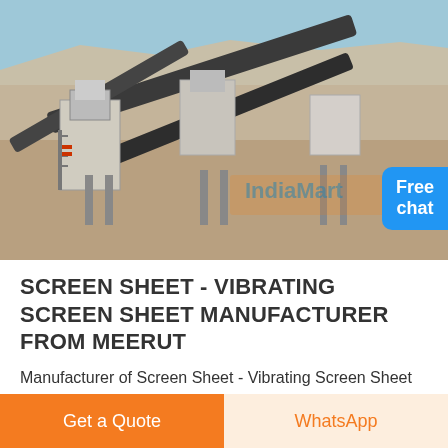[Figure (photo): Aerial view of a large industrial mining/crushing plant with conveyor belts, crushers, and heavy machinery set in an arid desert landscape. A blue 'Free chat' bubble with a person icon is overlaid in the bottom-right corner.]
SCREEN SHEET - VIBRATING SCREEN SHEET MANUFACTURER FROM MEERUT
Manufacturer of Screen Sheet - Vibrating Screen Sheet offered by Shivam Pumps And Engineering, Meerut, Uttar Pradesh.